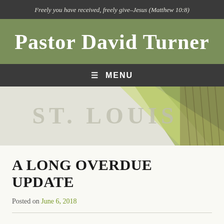Freely you have received, freely give–Jesus (Matthew 10:8)
Pastor David Turner
≡ MENU
[Figure (illustration): Hero banner image with diagonal green shapes and rope texture on right side, overlaid with faded text 'ST. LOUIS']
A LONG OVERDUE UPDATE
Posted on June 6, 2018